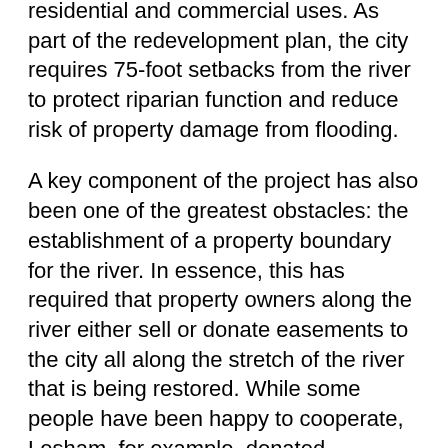replaced with urban redevelopment, including residential and commercial uses. As part of the redevelopment plan, the city requires 75-foot setbacks from the river to protect riparian function and reduce risk of property damage from flooding.
A key component of the project has also been one of the greatest obstacles: the establishment of a property boundary for the river. In essence, this has required that property owners along the river either sell or donate easements to the city all along the stretch of the river that is being restored. While some people have been happy to cooperate, Lesham, for example, donated easements on his properties, others have held out, generally requesting greater compensation than the city can afford. To date, this problem has not